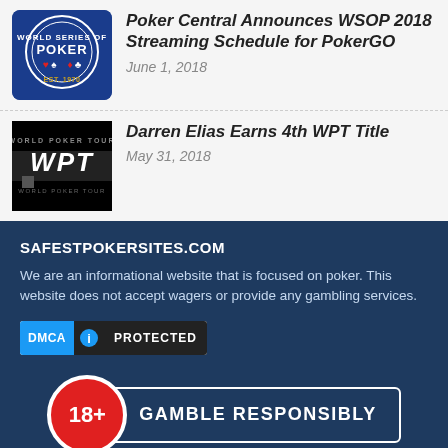Poker Central Announces WSOP 2018 Streaming Schedule for PokerGO
June 1, 2018
Darren Elias Earns 4th WPT Title
May 31, 2018
SAFESTPOKERSITES.COM
We are an informational website that is focused on poker. This website does not accept wagers or provide any gambling services.
[Figure (logo): DMCA Protected badge with blue DMCA label, lock icon, and dark PROTECTED text]
[Figure (infographic): 18+ Gamble Responsibly badge with red circle containing 18+ and rectangular border with GAMBLE RESPONSIBLY text]
PROBLEM GAMBLING